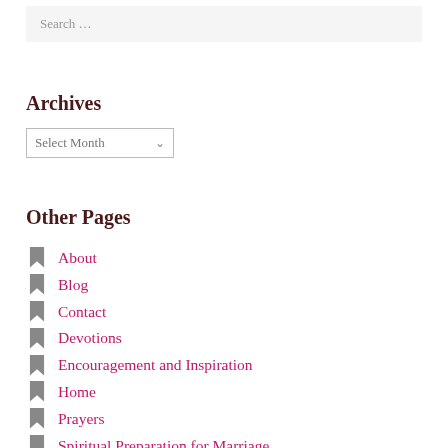Search …
Archives
Select Month
Other Pages
About
Blog
Contact
Devotions
Encouragement and Inspiration
Home
Prayers
Spiritual Preparation for Marriage